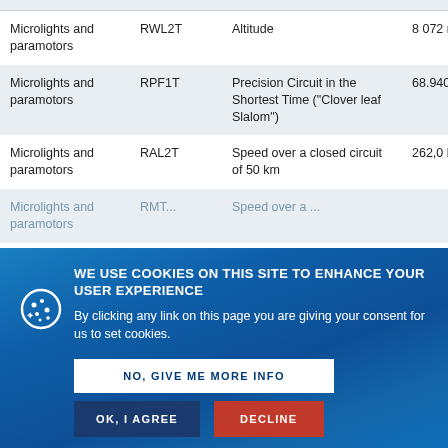| Category | Code | Record Type | Value |
| --- | --- | --- | --- |
| Microlights and paramotors | RWL2T | Altitude | 8 072 m |
| Microlights and paramotors | RPF1T | Precision Circuit in the Shortest Time ("Clover leaf Slalom") | 68.940 s |
| Microlights and paramotors | RAL2T | Speed over a closed circuit of 50 km | 262,0 km/h |
| Microlights and paramotors | RMT... | Speed over a ... | ... |
| Microlights and paramotors | RAL1T | Distance in a straight line with ... | 183 km |
| Microlights and paramotors | ... | ... without landing | 643,86 km... |
[Figure (infographic): Cookie consent overlay with gradient blue background. Title: WE USE COOKIES ON THIS SITE TO ENHANCE YOUR USER EXPERIENCE. Body: By clicking any link on this page you are giving your consent for us to set cookies. Three buttons: NO, GIVE ME MORE INFO (white), OK, I AGREE (dark blue), DECLINE (red). Cookie icon on the left.]